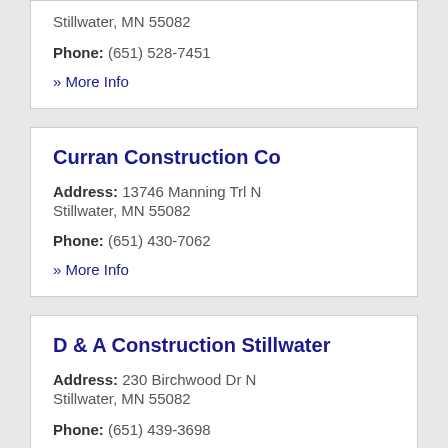Stillwater, MN 55082
Phone: (651) 528-7451
» More Info
Curran Construction Co
Address: 13746 Manning Trl N Stillwater, MN 55082
Phone: (651) 430-7062
» More Info
D & A Construction Stillwater
Address: 230 Birchwood Dr N Stillwater, MN 55082
Phone: (651) 439-3698